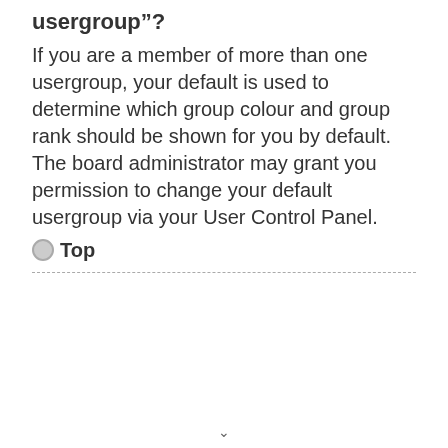usergroup”?
If you are a member of more than one usergroup, your default is used to determine which group colour and group rank should be shown for you by default. The board administrator may grant you permission to change your default usergroup via your User Control Panel.
Top